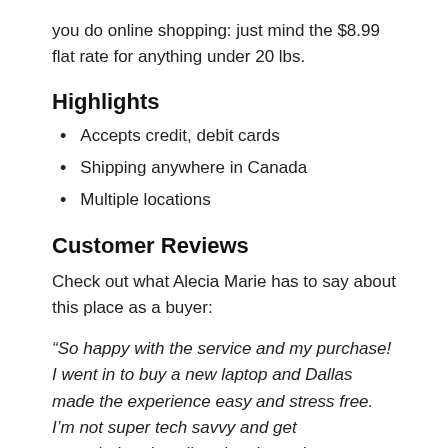you do online shopping: just mind the $8.99 flat rate for anything under 20 lbs.
Highlights
Accepts credit, debit cards
Shipping anywhere in Canada
Multiple locations
Customer Reviews
Check out what Alecia Marie has to say about this place as a buyer:
“So happy with the service and my purchase! I went in to buy a new laptop and Dallas made the experience easy and stress free. I’m not super tech savvy and get overwhelmed easily… he showed me my options and helped me make the